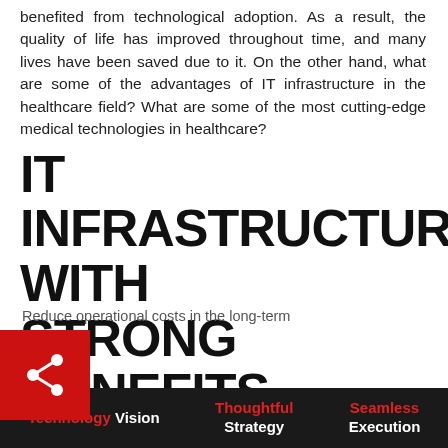benefited from technological adoption. As a result, the quality of life has improved throughout time, and many lives have been saved due to it. On the other hand, what are some of the advantages of IT infrastructure in the healthcare field? What are some of the most cutting-edge medical technologies in healthcare?
IT INFRASTRUCTURE WITH STRONG BENEFITS
Reduce operational costs in the long-term
Technology Vision | Thoughtful Strategy | Seamless Execution